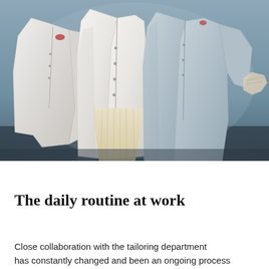[Figure (photo): Three people wearing white lab coats or work coats standing together. The person in the middle appears to be wearing a light pleated skirt underneath. One person is holding what appears to be gloves or fabric. Background is a muted blue-grey.]
The daily routine at work
Close collaboration with the tailoring department has constantly changed and been an ongoing process...